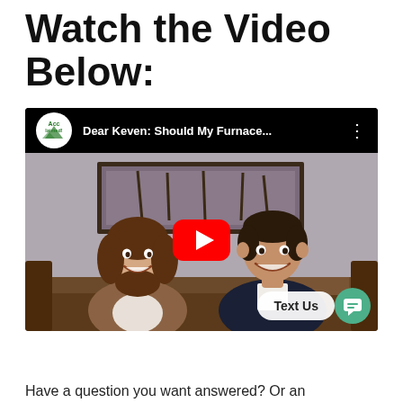Watch the Video Below:
[Figure (screenshot): YouTube video embed showing two people smiling, with the Acclaimed logo and title 'Dear Keven: Should My Furnace...' in the top bar, a red YouTube play button in the center, and a 'Text Us' chat widget in the bottom right corner.]
Have a question you want answered? Or an